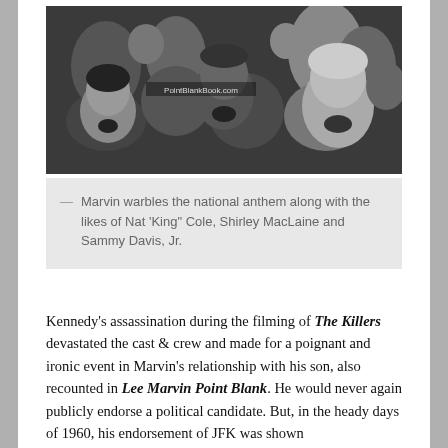[Figure (photo): Black and white photograph showing a crowd of people singing, including a prominent blonde woman on the right and other figures in the background. A watermark reads 'PointBlankBook.com'.]
— Marvin warbles the national anthem along with the likes of Nat 'King" Cole, Shirley MacLaine and Sammy Davis, Jr.
Kennedy's assassination during the filming of The Killers devastated the cast & crew and made for a poignant and ironic event in Marvin's relationship with his son, also recounted in Lee Marvin Point Blank. He would never again publicly endorse a political candidate. But, in the heady days of 1960, his endorsement of JFK was shown